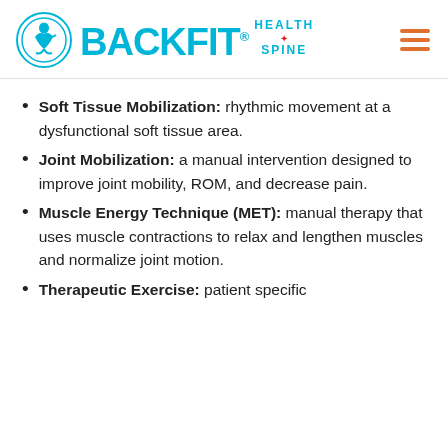BACKFIT HEALTH SPINE
Soft Tissue Mobilization: rhythmic movement at a dysfunctional soft tissue area.
Joint Mobilization: a manual intervention designed to improve joint mobility, ROM, and decrease pain.
Muscle Energy Technique (MET): manual therapy that uses muscle contractions to relax and lengthen muscles and normalize joint motion.
Therapeutic Exercise: patient specific